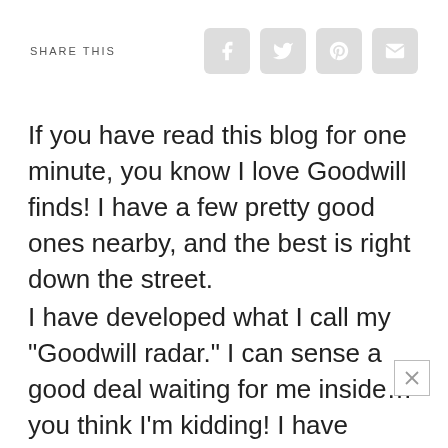SHARE THIS
If you have read this blog for one minute, you know I love Goodwill finds! I have a few pretty good ones nearby, and the best is right down the street.
I have developed what I call my "Goodwill radar." I can sense a good deal waiting for me inside…you think I'm kidding! I have found some of my best deals with my sixth sense. Goodwill and I